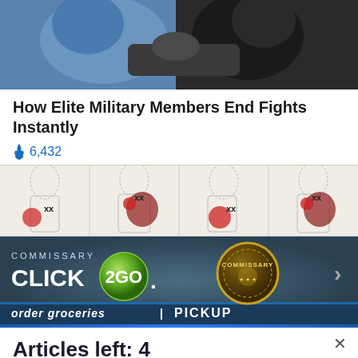[Figure (photo): Two people grappling, one in a blue t-shirt and one in dark clothing, shown from torso up.]
How Elite Military Members End Fights Instantly
🔥 6,432
[Figure (illustration): Anatomical diagram strip showing four panels of human figures with highlighted muscle/pain points marked with red and XX markers, illustrating pressure points.]
[Figure (screenshot): Advertisement banner for Commissary Click2Go service showing the Click2Go logo with a green circle, a Commissary badge/seal, and text reading 'order groceries' at the bottom.]
Articles left: 4
Subscribe to get unlimited access  Subscribe
Already have an account?  Login here